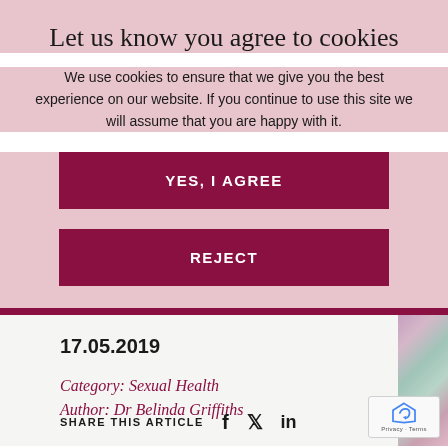Let us know you agree to cookies
We use cookies to ensure that we give you the best experience on our website. If you continue to use this site we will assume that you are happy with it.
YES, I AGREE
REJECT
17.05.2019
Category: Sexual Health
Author: Dr Belinda Griffiths
SHARE THIS ARTICLE